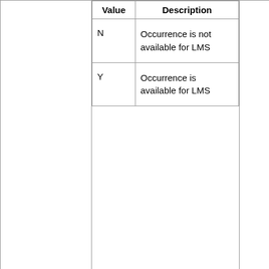| Value | Description |
| --- | --- |
| N | Occurrence is not available for LMS |
| Y | Occurrence is available for LMS |
| (field name) | Description | (col3) |
| --- | --- | --- |
| LmsStatusFlag | Flag indicating whether the enrolment has been transferred to an LMS
The valid values for this field are: | S |
| Value | Description |
| --- | --- |